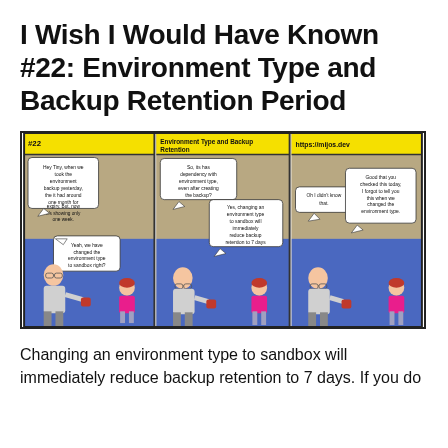I Wish I Would Have Known #22: Environment Type and Backup Retention Period
[Figure (illustration): Three-panel comic strip. Panel 1 header: '#22'. Panel 2 header: 'Environment Type and Backup Retention'. Panel 3 header: 'https://mijos.dev'. Panel 1: Short character says 'Hey Tiny, when we took the environment backup yesterday, the it had around one month for expiry. But, now it's showing only one week.' Tall character replies 'Yeah, we have changed the environment type to sandbox right?'. Panel 2: Tall character asks 'So, its has dependency with environment type, even after creating the backup?' Short character replies 'Yes, changing an environment type to sandbox will immediately reduce backup retention to 7 days'. Panel 3: Tall character says 'Oh I didn't know that.' Short character replies 'Good that you checked this today, I forgot to tell you this when we changed the environment type.']
Changing an environment type to sandbox will immediately reduce backup retention to 7 days. If you do